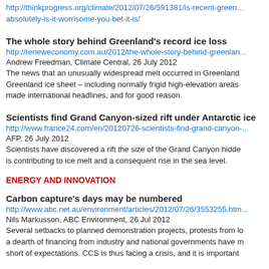http://thinkprogress.org/climate/2012/07/26/591381/is-recent-greenland-melt-absolutely-is-it-worrisome-you-bet-it-is/
The whole story behind Greenland's record ice loss
http://reneweconomy.com.au/2012/the-whole-story-behind-greenland
Andrew Freedman, Climate Central, 26 July 2012
The news that an unusually widespread melt occurred in Greenland Greenland ice sheet – including normally frigid high-elevation areas made international headlines, and for good reason.
Scientists find Grand Canyon-sized rift under Antarctic ice
http://www.france24.com/en/20120726-scientists-find-grand-canyon-
AFP, 26 July 2012
Scientists have discovered a rift the size of the Grand Canyon hidden is contributing to ice melt and a consequent rise in the sea level.
ENERGY AND INNOVATION
Carbon capture's days may be numbered
http://www.abc.net.au/environment/articles/2012/07/26/3553255.htm
Nils Markusson, ABC Environment, 26 Jul 2012
Several setbacks to planned demonstration projects, protests from a dearth of financing from industry and national governments have m short of expectations. CCS is thus facing a crisis, and it is important